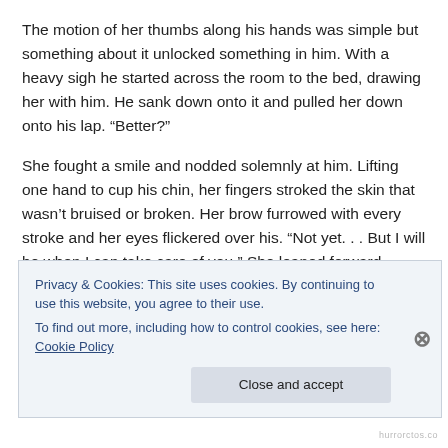The motion of her thumbs along his hands was simple but something about it unlocked something in him. With a heavy sigh he started across the room to the bed, drawing her with him. He sank down onto it and pulled her down onto his lap. “Better?”
She fought a smile and nodded solemnly at him. Lifting one hand to cup his chin, her fingers stroked the skin that wasn’t bruised or broken. Her brow furrowed with every stroke and her eyes flickered over his. “Not yet. . . But I will be when I can take care of you.” She leaned forward
Privacy & Cookies: This site uses cookies. By continuing to use this website, you agree to their use.
To find out more, including how to control cookies, see here: Cookie Policy
Close and accept
hurrorctos.co